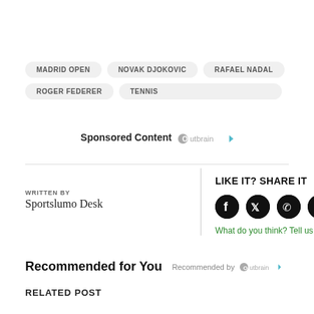MADRID OPEN
NOVAK DJOKOVIC
RAFAEL NADAL
ROGER FEDERER
TENNIS
Sponsored Content Outbrain
WRITTEN BY
Sportslumo Desk
LIKE IT? SHARE IT
What do you think? Tell us
Recommended for You  Recommended by Outbrain
RELATED POST